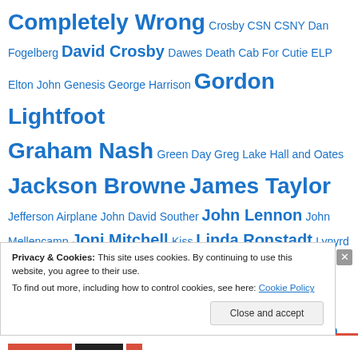Completely Wrong Crosby CSN CSNY Dan Fogelberg David Crosby Dawes Death Cab For Cutie ELP Elton John Genesis George Harrison Gordon Lightfoot Graham Nash Green Day Greg Lake Hall and Oates Jackson Browne James Taylor Jefferson Airplane John David Souther John Lennon John Mellencamp Joni Mitchell Kiss Linda Ronstadt Lynyrd Skynyrd Mark Knopfler Marvin Gaye Mary Chapin Carpenter Mitt Romney Nash Neil Young Nick Drake Paul McCartney Paul Ryan Pete Townshend
Privacy & Cookies: This site uses cookies. By continuing to use this website, you agree to their use.
To find out more, including how to control cookies, see here: Cookie Policy
Close and accept